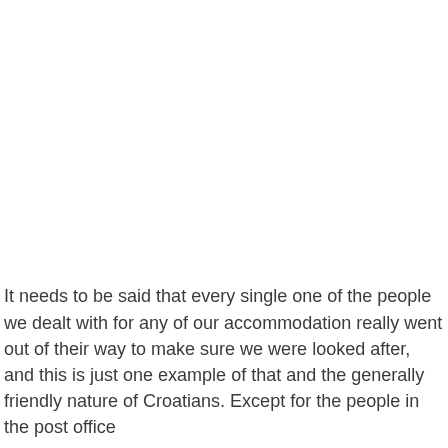It needs to be said that every single one of the people we dealt with for any of our accommodation really went out of their way to make sure we were looked after, and this is just one example of that and the generally friendly nature of Croatians. Except for the people in the post office